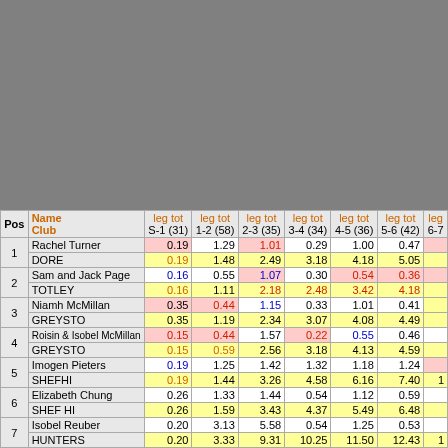| Pos | Name / Club | leg tot S-1 (31) | leg tot 1-2 (58) | leg tot 2-3 (35) | leg tot 3-4 (34) | leg tot 4-5 (36) | leg tot 5-6 (42) | leg 6-7... |
| --- | --- | --- | --- | --- | --- | --- | --- | --- |
| 1 | Rachel Turner / DORE | 0.19 / 0.19 | 1.29 / 1.48 | 1.01 / 2.49 | 0.29 / 3.18 | 1.00 / 4.18 | 0.47 / 5.05 |  |
| 2 | Sam and Jack Page / TOTLEY | 0.16 / 0.16 | 0.55 / 1.11 | 1.07 / 2.18 | 0.30 / 2.48 | 0.54 / 3.42 | 0.36 / 4.18 |  |
| 3 | Niamh McMillan / GREYSTO | 0.35 / 0.35 | 0.44 / 1.19 | 1.15 / 2.34 | 0.33 / 3.07 | 1.01 / 4.08 | 0.41 / 4.49 |  |
| 4 | Roisin & Isobel McMillan / GREYSTO | 0.15 / 0.15 | 0.44 / 0.59 | 1.57 / 2.56 | 0.22 / 3.18 | 0.55 / 4.13 | 0.46 / 4.59 |  |
| 5 | Imogen Pieters / SHEFHI | 0.19 / 0.19 | 1.25 / 1.44 | 1.42 / 3.26 | 1.32 / 4.58 | 1.18 / 6.16 | 1.24 / 7.40 | 1... |
| 6 | Elizabeth Chung / SHEF HI | 0.26 / 0.26 | 1.33 / 1.59 | 1.44 / 3.43 | 0.54 / 4.37 | 1.12 / 5.49 | 0.59 / 6.48 |  |
| 7 | Isobel Reuber / HUNTERS | 0.20 / 0.20 | 3.13 / 3.33 | 5.58 / 9.31 | 0.54 / 10.25 | 1.25 / 11.50 | 0.53 / 12.43 | 1... |